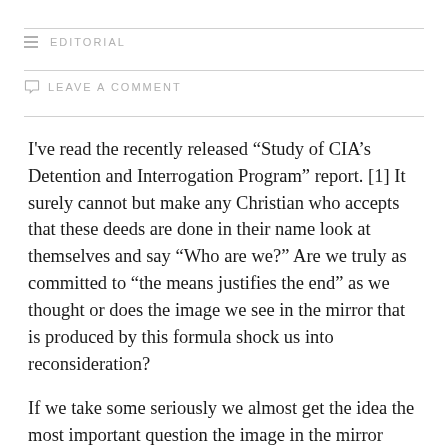EDITORIAL
LEAVE A COMMENT
I've read the recently released “Study of CIA’s Detention and Interrogation Program” report. [1] It surely cannot but make any Christian who accepts that these deeds are done in their name look at themselves and say “Who are we?” Are we truly as committed to “the means justifies the end” as we thought or does the image we see in the mirror that is produced by this formula shock us into reconsideration?
If we take some seriously we almost get the idea the most important question the image in the mirror